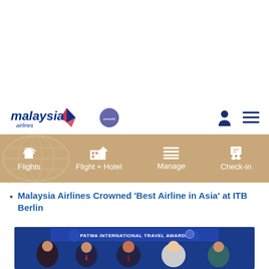[Figure (logo): Malaysia Airlines logo with kite symbol, oneworld badge, user icon, and hamburger menu]
[Figure (infographic): Gold navigation bar with Flights, Flight + Hotel, Manage, and Check-in icons on tan/gold background with decorative globe]
Malaysia Airlines Crowned 'Best Airline in Asia' at ITB Berlin
[Figure (photo): Group photo at PATWA International Travel Awards event showing five people in formal attire against a blue branded backdrop]